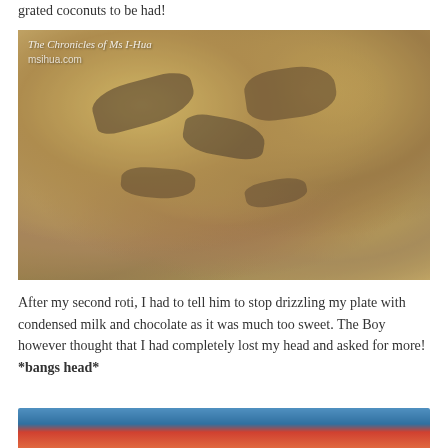grated coconuts to be had!
[Figure (photo): Plate of roti pieces drizzled with chocolate sauce and condensed milk, served on white paper. Watermark reads: The Chronicles of Ms I-Hua / msihua.com]
After my second roti, I had to tell him to stop drizzling my plate with condensed milk and chocolate as it was much too sweet. The Boy however thought that I had completely lost my head and asked for more! *bangs head*
[Figure (photo): Bottom strip showing partial image with blue and red colors]